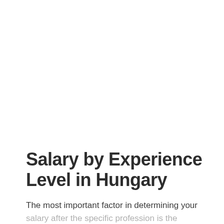Salary by Experience Level in Hungary
The most important factor in determining your salary after the specific profession is the number of years of experience and seniority.